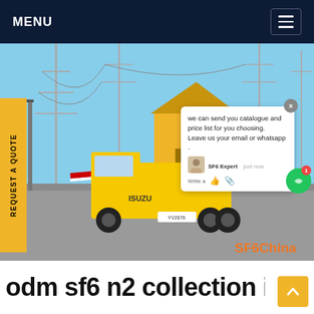MENU
[Figure (photo): Yellow ISUZU truck at an electrical substation with high-voltage transmission towers. Workers visible. Outdoor industrial scene. SF6China watermark visible in bottom right of image. Chat popup overlay shows: 'we can send you catalogue and price list for you choosing. Leave us your email or whatsapp .' with SF6 Expert avatar and 'just now' timestamp. 'Write a' input field visible.]
REQUEST A QUOTE
odm sf6 n2 collection in